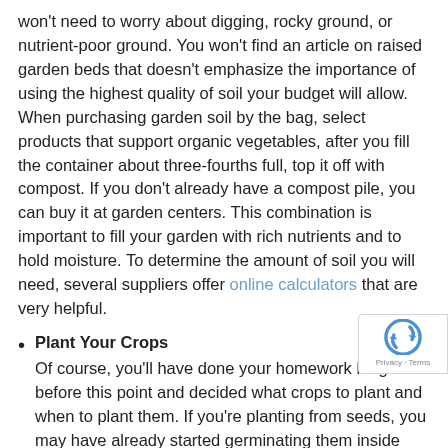won't need to worry about digging, rocky ground, or nutrient-poor ground. You won't find an article on raised garden beds that doesn't emphasize the importance of using the highest quality of soil your budget will allow. When purchasing garden soil by the bag, select products that support organic vegetables, after you fill the container about three-fourths full, top it off with compost. If you don't already have a compost pile, you can buy it at garden centers. This combination is important to fill your garden with rich nutrients and to hold moisture. To determine the amount of soil you will need, several suppliers offer online calculators that are very helpful.
Plant Your Crops
Of course, you'll have done your homework long before this point and decided what crops to plant and when to plant them. If you're planting from seeds, you may have already started germinating them inside and have seedlings ready to place in the garden. You'll have learned that Round Rock has a growing zone designation of 8. Many vegetables should be started indoors in mid-February to avoid frost. For later planting, consider transplanting seedling tomatoes, peppers, eggplant, fresh herbs, and more from your favorite garden center. The optimal growing season in this area runs from April